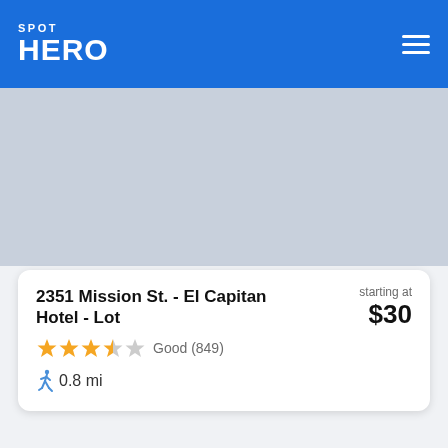SPOT HERO
[Figure (photo): Gray map/image placeholder area at the top of the listing]
2351 Mission St. - El Capitan Hotel - Lot
starting at $30
Good (849)
0.8 mi
[Figure (photo): Gray map/image placeholder area at the bottom, partially visible]